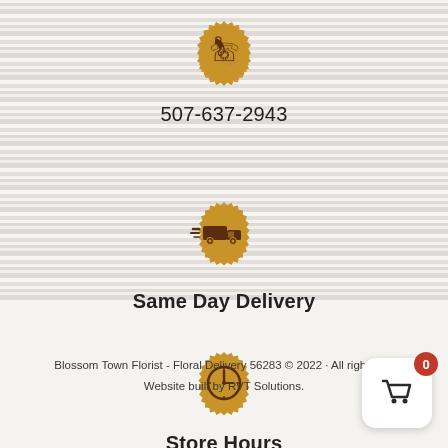[Figure (illustration): Golden wax seal badge with phone/call icon]
507-637-2943
[Figure (illustration): Golden wax seal badge with delivery truck icon]
Same Day Delivery
[Figure (illustration): Golden wax seal badge with clock/store hours icon]
Store Hours
Blossom Town Florist - Floral Delivery 56283 © 2022 · All rights reserved. Website built by RVT Solutions.